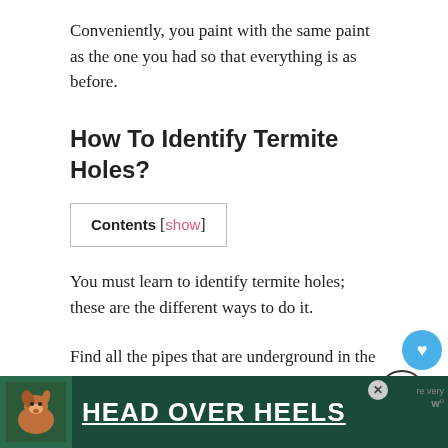Conveniently, you paint with the same paint as the one you had so that everything is as before.
How To Identify Termite Holes?
Contents [show]
You must learn to identify termite holes; these are the different ways to do it.
Find all the pipes that are underground in the ground or the outer walls. These insects create tubes made of mud to travel wherever they want quickly.
Open the tubes you get and look for these insects. Most
[Figure (photo): Advertisement banner at the bottom showing a dog with text HEAD OVER HEELS on a dark green background]